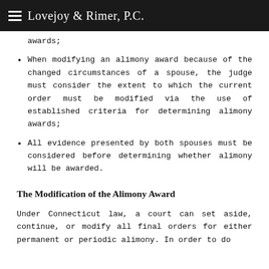Lovejoy & Rimer, P.C.
awards;
When modifying an alimony award because of the changed circumstances of a spouse, the judge must consider the extent to which the current order must be modified via the use of established criteria for determining alimony awards;
All evidence presented by both spouses must be considered before determining whether alimony will be awarded.
The Modification of the Alimony Award
Under Connecticut law, a court can set aside, continue, or modify all final orders for either permanent or periodic alimony. In order to do